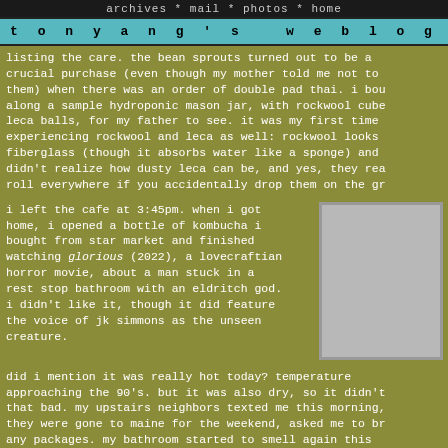archives * mail * photos * home
tony yang's weblog
listing the care. the bean sprouts turned out to be a crucial purchase (even though my mother told me not to them) when there was an order of double pad thai. i bou along a sample hydroponic mason jar, with rockwool cube leca balls, for my father to see. it was my first time experiencing rockwool and leca as well: rockwool looks fiberglass (though it absorbs water like a sponge) and didn't realize how dusty leca can be, and yes, they rea roll everywhere if you accidentally drop them on the gr
i left the cafe at 3:45pm. when i got home, i opened a bottle of kombucha i bought from star market and finished watching glorious (2022), a lovecraftian horror movie, about a man stuck in a rest stop bathroom with an eldritch god. i didn't like it, though it did feature the voice of jk simmons as the unseen creature.
[Figure (photo): A gray placeholder/thumbnail image with a light border]
did i mention it was really hot today? temperature approaching the 90's. but it was also dry, so it didn't that bad. my upstairs neighbors texted me this morning, they were gone to maine for the weekend, asked me to br any packages. my bathroom started to smell again this morning, because of the heat. it dissipated after i use toilet and took a shower, the grey water washing away s that stench in the pipes. i even smelled it when i was outside the house. wafting up from the storm drains.